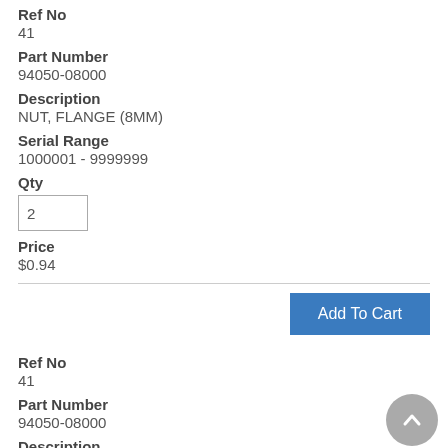Ref No
41
Part Number
94050-08000
Description
NUT, FLANGE (8MM)
Serial Range
1000001 - 9999999
Qty
2
Price
$0.94
Add To Cart
Ref No
41
Part Number
94050-08000
Description
NUT, FLANGE (8MM)